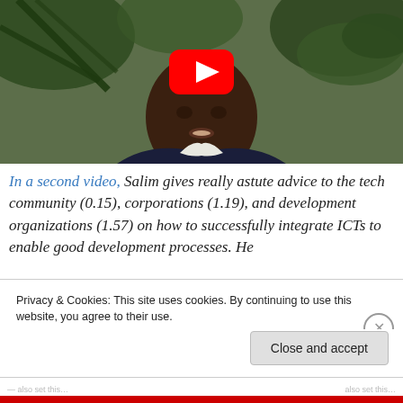[Figure (screenshot): A YouTube video thumbnail showing a man outdoors with tropical foliage in the background. A red YouTube play button is centered on the image.]
In a second video, Salim gives really astute advice to the tech community (0.15), corporations (1.19), and development organizations (1.57) on how to successfully integrate ICTs to enable good development processes. He also mentions the importance of working with the ti…
Privacy & Cookies: This site uses cookies. By continuing to use this website, you agree to their use.
To find out more, including how to control cookies, see here: Cookie Policy
Close and accept